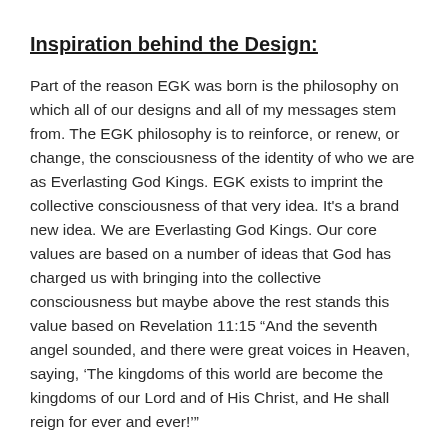Inspiration behind the Design:
Part of the reason EGK was born is the philosophy on which all of our designs and all of my messages stem from. The EGK philosophy is to reinforce, or renew, or change, the consciousness of the identity of who we are as Everlasting God Kings. EGK exists to imprint the collective consciousness of that very idea. It's a brand new idea. We are Everlasting God Kings. Our core values are based on a number of ideas that God has charged us with bringing into the collective consciousness but maybe above the rest stands this value based on Revelation 11:15 “And the seventh angel sounded, and there were great voices in Heaven, saying, ‘The kingdoms of this world are become the kingdoms of our Lord and of His Christ, and He shall reign for ever and ever!’”
When you support us by purchasing any of our products you are helping us to establish that legacy...